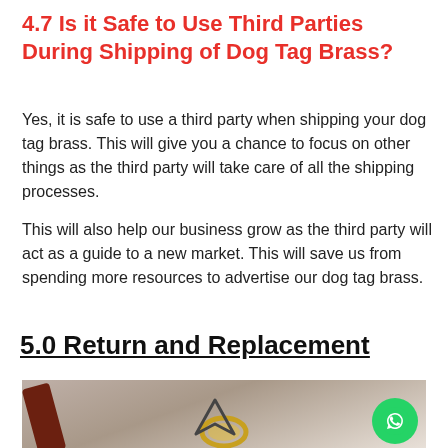4.7 Is it Safe to Use Third Parties During Shipping of Dog Tag Brass?
Yes, it is safe to use a third party when shipping your dog tag brass. This will give you a chance to focus on other things as the third party will take care of all the shipping processes.
This will also help our business grow as the third party will act as a guide to a new market. This will save us from spending more resources to advertise our dog tag brass.
5.0 Return and Replacement
[Figure (photo): Photo of a dog tag brass item with a brown leather strap and gold ring, with a navigation arrow icon overlay and a WhatsApp contact button in the bottom right corner.]